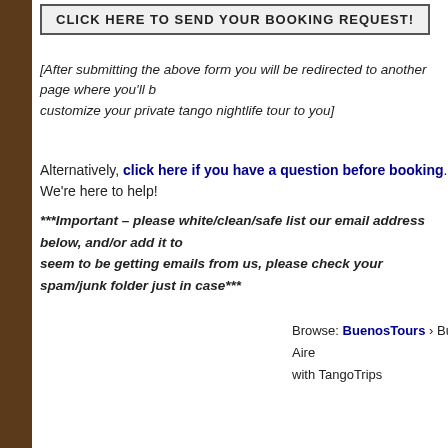CLICK HERE TO SEND YOUR BOOKING REQUEST!
[After submitting the above form you will be redirected to another page where you'll be able to customize your private tango nightlife tour to you]
Alternatively, click here if you have a question before booking. We're here to help!
***Important – please white/clean/safe list our email address below, and/or add it to seem to be getting emails from us, please check your spam/junk folder just in case***
Browse: BuenosTours › Buenos Aires with TangoTrips